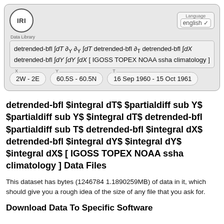IRI Data Library — detrended-bfl ∫dT ∂Y ∂Y ∫dT detrended-bfl ∂T detrended-bfl ∫dX detrended-bfl ∫dY ∫dY ∫dX [ IGOSS TOPEX NOAA ssha climatology ] | X: 2W - 2E | Y: 60.5S - 60.5N | T: 16 Sep 1960 - 15 Oct 1961 | Language: english
detrended-bfl $integral dT$ $partialdiff sub Y$ $partialdiff sub Y$ $integral dT$ detrended-bfl $partialdiff sub T$ detrended-bfl $integral dX$ detrended-bfl $integral dY$ $integral dY$ $integral dX$ [ IGOSS TOPEX NOAA ssha climatology ] Data Files
This dataset has bytes (1246784 1.1890259MB) of data in it, which should give you a rough idea of the size of any file that you ask for.
Download Data To Specific Software